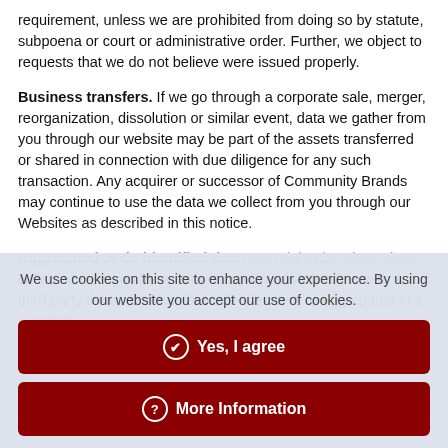requirement, unless we are prohibited from doing so by statute, subpoena or court or administrative order. Further, we object to requests that we do not believe were issued properly.
Business transfers. If we go through a corporate sale, merger, reorganization, dissolution or similar event, data we gather from you through our website may be part of the assets transferred or shared in connection with due diligence for any such transaction. Any acquirer or successor of Community Brands may continue to use the data we collect from you through our Websites as described in this notice.
Aggregated or de-identified data. We might also share data collected from you from Community Brands Websites with a third party if that data has been de-identified or aggregated in a way that...
We use cookies on this site to enhance your experience. By using our website you accept our use of cookies.
Yes, I agree
More Information